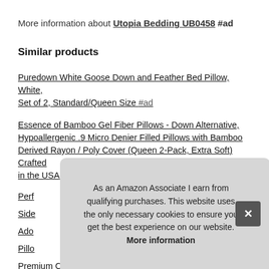More information about Utopia Bedding UB0458 #ad
Similar products
Puredown White Goose Down and Feather Bed Pillow, White, Set of 2, Standard/Queen Size #ad
Essence of Bamboo Gel Fiber Pillows - Down Alternative, Hypoallergenic .9 Micro Denier Filled Pillows with Bamboo Derived Rayon / Poly Cover (Queen 2-Pack, Extra Soft) Crafted in the USA #ad
Perf...
Side...
Ado...
Pillo...
Premium Cotton Zippered Pillow Covers 2-Pack (Standard/White)...
As an Amazon Associate I earn from qualifying purchases. This website uses the only necessary cookies to ensure you get the best experience on our website. More information